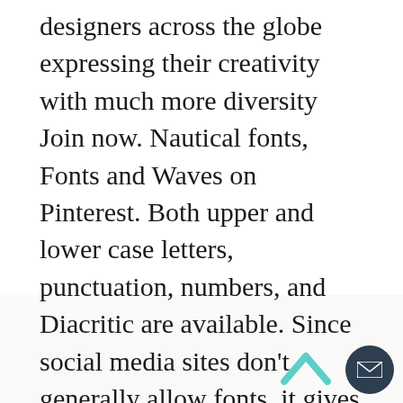designers across the globe expressing their creativity with much more diversity Join now. Nautical fonts, Fonts and Waves on Pinterest. Both upper and lower case letters, punctuation, numbers, and Diacritic are available. Since social media sites don't generally allow fonts, it gives the user a huge surprise when they see something new like that. If you want a text that regards to an illusion or dream, then this font will suit. From shop LeeKxstudio. This brush font is free for non-commercial designs and is ideal for Vaporwave designs, 80s logos, flyers, and many more. Forum FAQ. Login | Register. Try this font for your Vaporwave designs! Bring your creative projects to life with ready-to-use design assets from independent creators around the world. Themes
[Figure (photo): Background landscape photo of green forested hills/terrain visible at the bottom portion of the page]